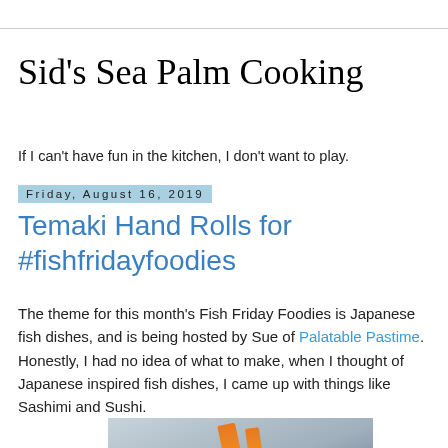Sid's Sea Palm Cooking
If I can't have fun in the kitchen, I don't want to play.
Friday, August 16, 2019
Temaki Hand Rolls for #fishfridayfoodies
The theme for this month's Fish Friday Foodies is Japanese fish dishes, and is being hosted by Sue of Palatable Pastime.
Honestly, I had no idea of what to make, when I thought of Japanese inspired fish dishes, I came up with things like Sashimi and Sushi.
[Figure (photo): Photo of temaki hand rolls, partial view showing orange/salmon colored ingredients on a light surface]